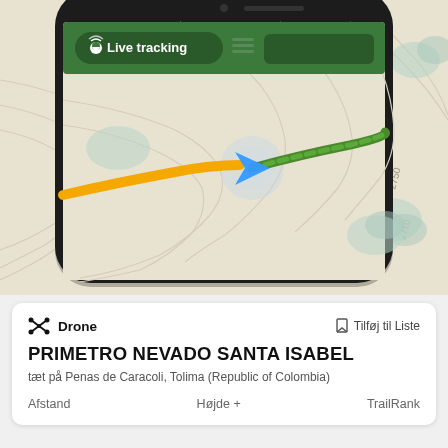[Figure (screenshot): Mobile phone screenshot showing a hiking/navigation app with 'Live tracking' button on a green header bar, and a topographic map with an orange trail line meeting a green trail line, and a blue navigation arrow cursor at the junction point.]
Drone
Tilføj til Liste
PRIMETRO NEVADO SANTA ISABEL
tæt på Penas de Caracoli, Tolima (Republic of Colombia)
Afstand
Højde +
TrailRank